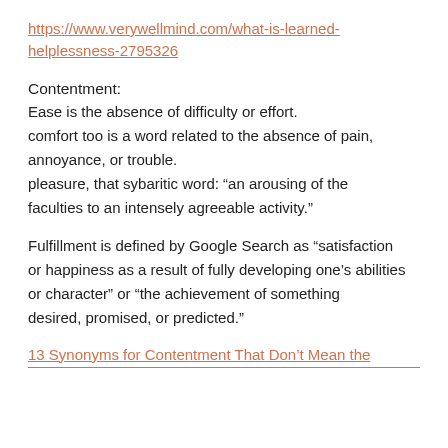https://www.verywellmind.com/what-is-learned-helplessness-2795326
Contentment:
Ease is the absence of difficulty or effort.
comfort too is a word related to the absence of pain, annoyance, or trouble.
pleasure, that sybaritic word: “an arousing of the faculties to an intensely agreeable activity.”
Fulfillment is defined by Google Search as “satisfaction or happiness as a result of fully developing one’s abilities or character” or “the achievement of something desired, promised, or predicted.”
13 Synonyms for Contentment That Don’t Mean the